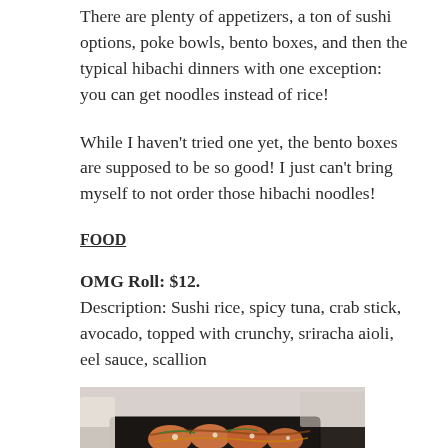There are plenty of appetizers, a ton of sushi options, poke bowls, bento boxes, and then the typical hibachi dinners with one exception: you can get noodles instead of rice!
While I haven't tried one yet, the bento boxes are supposed to be so good! I just can't bring myself to not order those hibachi noodles!
FOOD
OMG Roll: $12.
Description: Sushi rice, spicy tuna, crab stick, avocado, topped with crunchy, sriracha aioli, eel sauce, scallion
[Figure (photo): Photo of a sushi roll (OMG Roll) in a black tray/container, showing toppings and sauces]